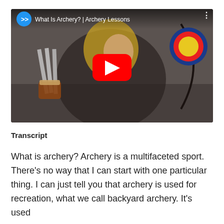[Figure (screenshot): YouTube video embed showing a woman holding a bow and arrows in front of an archery target. Title bar reads 'What Is Archery? | Archery Lessons' with YouTube branding and a red play button overlay.]
Transcript
What is archery? Archery is a multifaceted sport. There's no way that I can start with one particular thing. I can just tell you that archery is used for recreation, what we call backyard archery. It's used